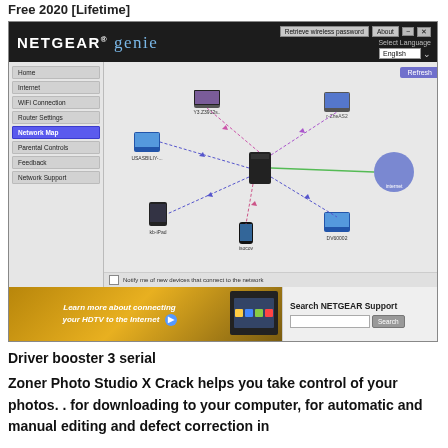Free 2020 [Lifetime]
[Figure (screenshot): NETGEAR Genie application screenshot showing network map with devices including computers, iPad, iPhone, and router connected by colored lines. Sidebar shows menu items: Home, Internet, WiFi Connection, Router Settings, Network Map (active), Parental Controls, Feedback, Network Support. Bottom bar shows HDTV internet connection ad and NETGEAR Support search bar.]
Driver booster 3 serial
Zoner Photo Studio X Crack helps you take control of your photos. . for downloading to your computer, for automatic and manual editing and defect correction in